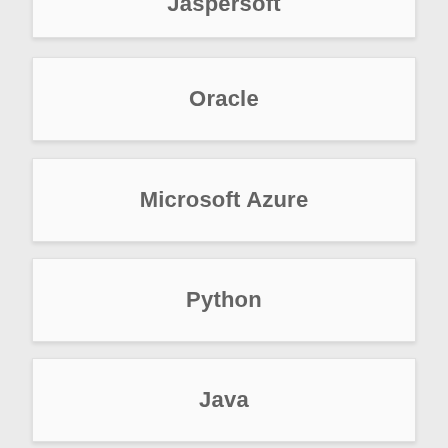Jaspersoft
Oracle
Microsoft Azure
Python
Java
Ab Initio
SharePoint